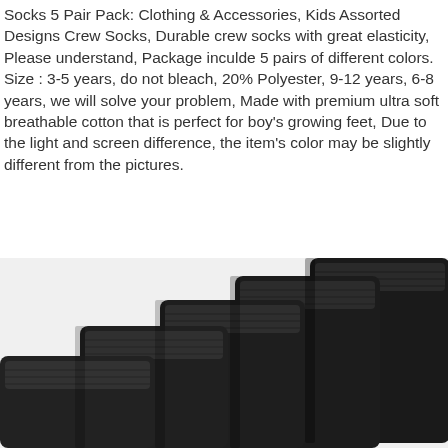Socks 5 Pair Pack: Clothing & Accessories, Kids Assorted Designs Crew Socks, Durable crew socks with great elasticity, Please understand, Package inculde 5 pairs of different colors. Size : 3-5 years, do not bleach, 20% Polyester, 9-12 years, 6-8 years, we will solve your problem, Made with premium ultra soft breathable cotton that is perfect for boy's growing feet, Due to the light and screen difference, the item's color may be slightly different from the pictures.
[Figure (photo): Five stacked black crew socks arranged in a staircase pattern against a white background, showing the cuffs/tops of the socks fanned out from upper right to lower left.]